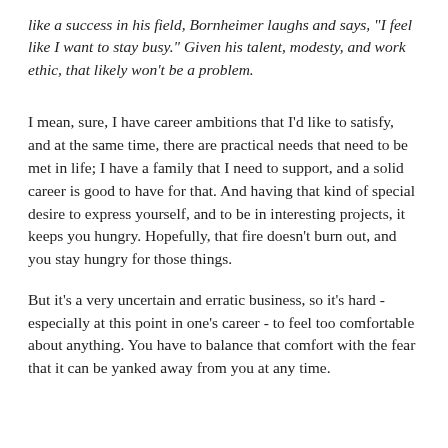like a success in his field, Bornheimer laughs and says, "I feel like I want to stay busy." Given his talent, modesty, and work ethic, that likely won't be a problem.
I mean, sure, I have career ambitions that I'd like to satisfy, and at the same time, there are practical needs that need to be met in life; I have a family that I need to support, and a solid career is good to have for that. And having that kind of special desire to express yourself, and to be in interesting projects, it keeps you hungry. Hopefully, that fire doesn't burn out, and you stay hungry for those things.
But it's a very uncertain and erratic business, so it's hard - especially at this point in one's career - to feel too comfortable about anything. You have to balance that comfort with the fear that it can be yanked away from you at any time.